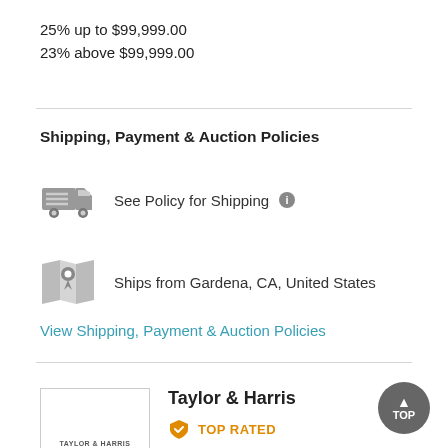25% up to $99,999.00
23% above $99,999.00
Shipping, Payment & Auction Policies
See Policy for Shipping ℹ
Ships from Gardena, CA, United States
View Shipping, Payment & Auction Policies
Taylor & Harris
TOP RATED